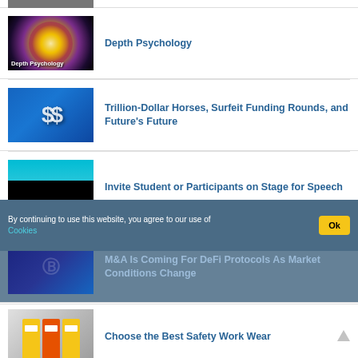[Figure (photo): Partial image visible at top of page]
Depth Psychology
Trillion-Dollar Horses, Surfeit Funding Rounds, and Future's Future
Invite Student or Participants on Stage for Speech
By continuing to use this website, you agree to our use of Cookies
M&A Is Coming For DeFi Protocols As Market Conditions Change
Choose the Best Safety Work Wear